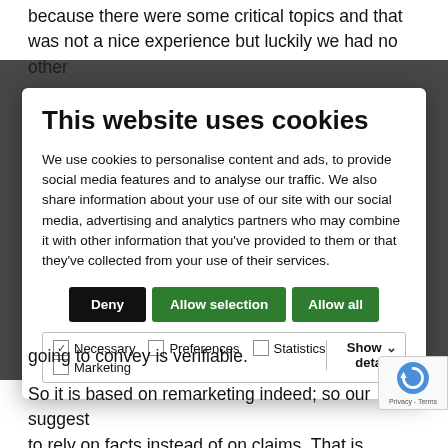because there were some critical topics and that was not a nice experience but luckily we had no other
[Figure (screenshot): Cookie consent modal dialog with title 'This website uses cookies', body text explaining cookie usage, three buttons (Deny, Allow selection, Allow all), and checkboxes for Necessary, Preferences, Statistics, and Marketing categories with a Show details option.]
going to convey is verifiable.
So it is based on remarketing indeed; so our suggestion is to rely on facts instead of on claims. That is particular an advertising agency to listening to this kind of message